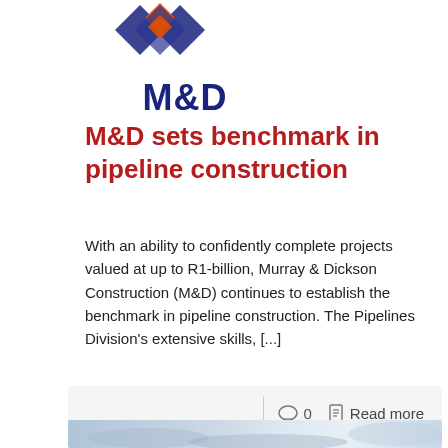[Figure (logo): M&D company logo with diamond/chevron shapes in blue and orange above bold navy 'M&D' text]
M&D sets benchmark in pipeline construction
With an ability to confidently complete projects valued at up to R1-billion, Murray & Dickson Construction (M&D) continues to establish the benchmark in pipeline construction. The Pipelines Division's extensive skills, [...]
0  Read more
[Figure (photo): Partial aerial or ground-level photo of a pipeline construction site, light blue/grey tones]